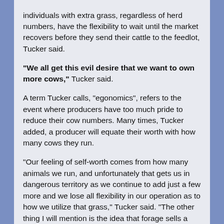individuals with extra grass, regardless of herd numbers, have the flexibility to wait until the market recovers before they send their cattle to the feedlot, Tucker said.
“We all get this evil desire that we want to own more cows,” Tucker said.
A term Tucker calls, “egonomics”, refers to the event where producers have too much pride to reduce their cow numbers. Many times, Tucker added, a producer will equate their worth with how many cows they run.
“Our feeling of self-worth comes from how many animals we run, and unfortunately that gets us in dangerous territory as we continue to add just a few more and we lose all flexibility in our operation as to how we utilize that grass,” Tucker said. “The other thing I will mention is the idea that forage sells a whole lot better wrapped in calf hide than it does cowhide.”
Running the maximum number of mature mama cows, Tucker said, locks us into a situation where we can’t have any flexibility in our marketing program for our